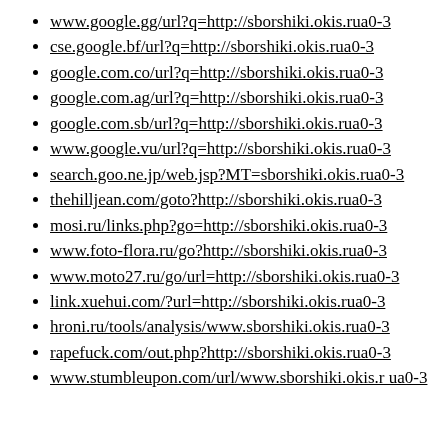www.google.gg/url?q=http://sborshiki.okis.rua0-3
cse.google.bf/url?q=http://sborshiki.okis.rua0-3
google.com.co/url?q=http://sborshiki.okis.rua0-3
google.com.ag/url?q=http://sborshiki.okis.rua0-3
google.com.sb/url?q=http://sborshiki.okis.rua0-3
www.google.vu/url?q=http://sborshiki.okis.rua0-3
search.goo.ne.jp/web.jsp?MT=sborshiki.okis.rua0-3
thehilljean.com/goto?http://sborshiki.okis.rua0-3
mosi.ru/links.php?go=http://sborshiki.okis.rua0-3
www.foto-flora.ru/go?http://sborshiki.okis.rua0-3
www.moto27.ru/go/url=http://sborshiki.okis.rua0-3
link.xuehui.com/?url=http://sborshiki.okis.rua0-3
hroni.ru/tools/analysis/www.sborshiki.okis.rua0-3
rapefuck.com/out.php?http://sborshiki.okis.rua0-3
www.stumbleupon.com/url/www.sborshiki.okis.rua0-3